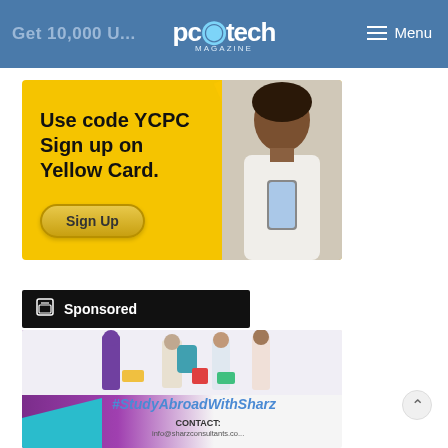pc tech MAGAZINE  |  Get 10,000 U...  |  Menu
[Figure (photo): Yellow Card advertisement banner with text 'Use code YCPC Sign up on Yellow Card.' and a Sign Up button, featuring a woman holding a phone on the right side]
Sponsored
[Figure (photo): Study abroad advertisement for Sharz Consultants with #StudyAbroadWithSharz hashtag, CONTACT: info@sharzconsultants.co, purple and teal design with students in background]